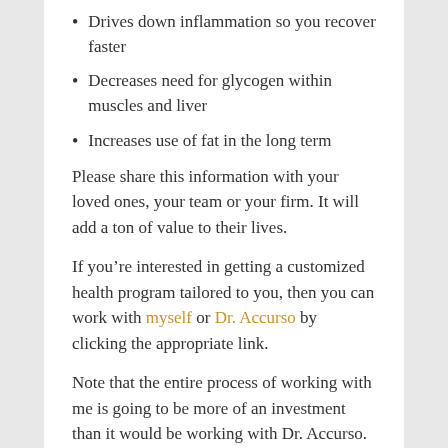Drives down inflammation so you recover faster
Decreases need for glycogen within muscles and liver
Increases use of fat in the long term
Please share this information with your loved ones, your team or your firm. It will add a ton of value to their lives.
If you’re interested in getting a customized health program tailored to you, then you can work with myself or Dr. Accurso by clicking the appropriate link.
Note that the entire process of working with me is going to be more of an investment than it would be working with Dr. Accurso.